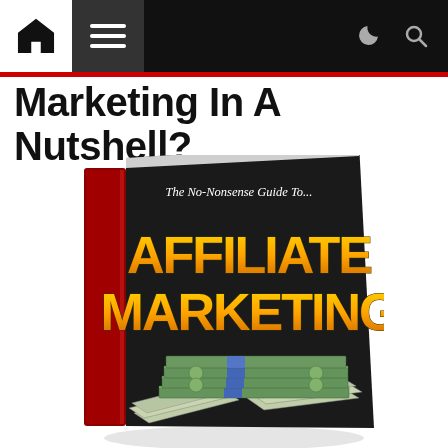Navigation bar with home icon, menu icon, dark mode toggle, and search icon
Marketing In A Nutshell?
[Figure (photo): Book cover: 'The No-Nonsense Guide To... Affiliate Marketing' with stacks of US dollar bills at the bottom. Dark/black background with large yellow-orange gradient text for AFFILIATE MARKETING. Red spine with white italic text reading 'The No-Nonsense Guide To...']